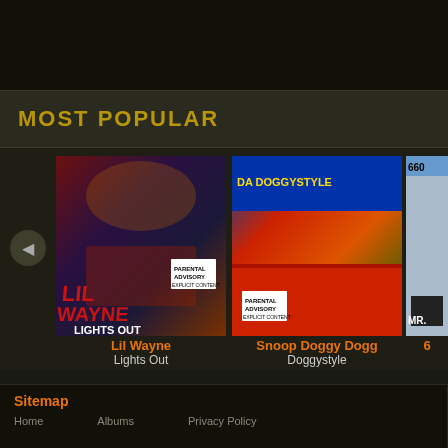MOST POPULAR
[Figure (photo): Album cover for Lil Wayne – Lights Out, showing Lil Wayne with Parental Advisory label]
Lil Wayne
Lights Out
[Figure (photo): Album cover for Snoop Doggy Dogg – Doggystyle with Parental Advisory label]
Snoop Doggy Dogg
Doggystyle
[Figure (photo): Partial album cover partially visible on the right edge, starting with '6']
6
Sitemap
Home
Albums
Privacy Policy